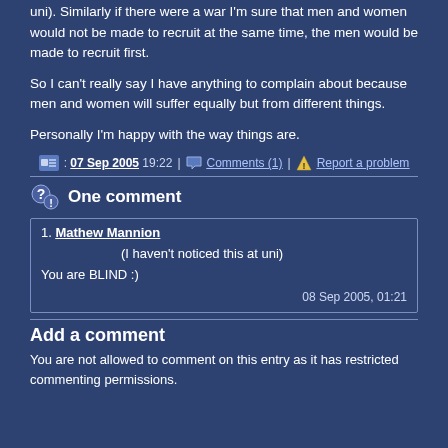uni). Similarly if there were a war I'm sure that men and women would not be made to recruit at the same time, the men would be made to recruit first.
So I can't really say I have anything to complain about because men and women will suffer equally but from different things.
Personally I'm happy with the way things are.
07 Sep 2005 19:22 | Comments (1) | Report a problem
One comment
1. Mathew Mannion
(I haven't noticed this at uni)
You are BLIND :)
08 Sep 2005, 01:21
Add a comment
You are not allowed to comment on this entry as it has restricted commenting permissions.